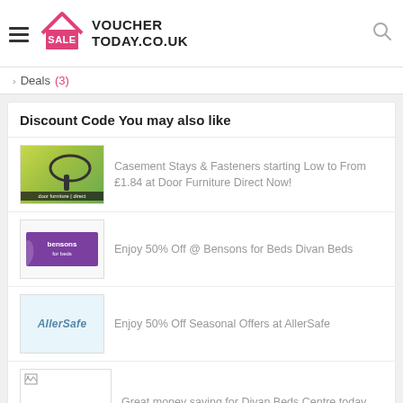[Figure (logo): VoucherToday.co.uk logo with house/SALE icon and hamburger menu on left, search icon on right]
> Deals (3)
Discount Code You may also like
Casement Stays & Fasteners starting Low to From £1.84 at Door Furniture Direct Now!
Enjoy 50% Off @ Bensons for Beds Divan Beds
Enjoy 50% Off Seasonal Offers at AllerSafe
Great money saving for Divan Beds Centre today
Exclusive From £5 on Cutlery…  at